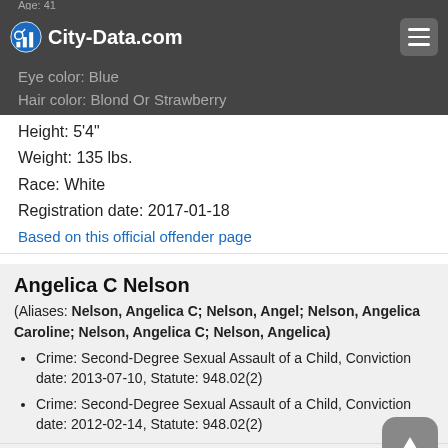City-Data.com
Eye color: Blue
Hair color: Blond Or Strawberry
Height: 5'4"
Weight: 135 lbs.
Race: White
Registration date: 2017-01-18
Based on this official offender page
Angelica C Nelson
(Aliases: Nelson, Angelica C; Nelson, Angel; Nelson, Angelica Caroline; Nelson, Angelica C; Nelson, Angelica)
Crime: Second-Degree Sexual Assault of a Child, Conviction date: 2013-07-10, Statute: 948.02(2)
Crime: Second-Degree Sexual Assault of a Child, Conviction date: 2012-02-14, Statute: 948.02(2)
Address: 710 2nd Ave
Zip Code: 54703